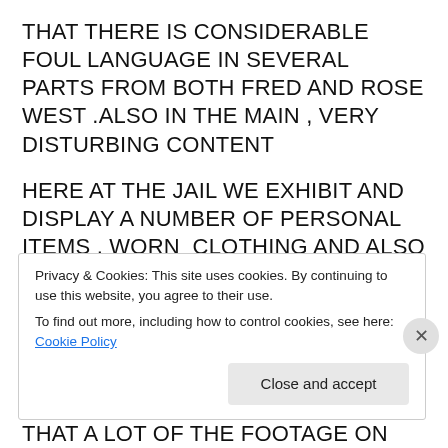THAT THERE IS CONSIDERABLE FOUL LANGUAGE IN SEVERAL PARTS FROM BOTH FRED AND ROSE WEST .ALSO IN THE MAIN , VERY DISTURBING CONTENT
HERE AT THE JAIL WE EXHIBIT AND DISPLAY A NUMBER OF PERSONAL ITEMS , WORN  CLOTHING AND ALSO TOOLS OF THE TRADE USED BY FRED WEST . THIS BEING A SMALL PART OF OUR TRUE  CRIME COLLECTIONS
WARNING.... PLEASE DO BE AWARE THAT A LOT OF THE FOOTAGE ON THIS POST .(AND THE OTHER
Privacy & Cookies: This site uses cookies. By continuing to use this website, you agree to their use.
To find out more, including how to control cookies, see here: Cookie Policy